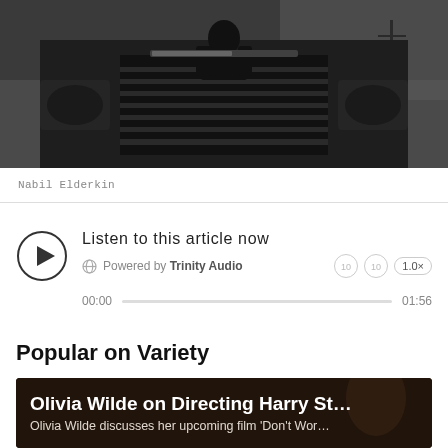[Figure (photo): Black and white photograph of a person sitting on top of a large truck or vehicle, viewed from the front, with telephone poles visible in the background against a cloudy sky.]
Nabil Elderkin
[Figure (screenshot): Audio player widget: Listen to this article now, Powered by Trinity Audio, time 00:00 / 01:56, speed 1.0x]
Popular on Variety
[Figure (photo): Dark brownish photo card with white text: 'Olivia Wilde on Directing Harry St...' and subtitle 'Olivia Wilde discusses her upcoming film Don't Wor...']